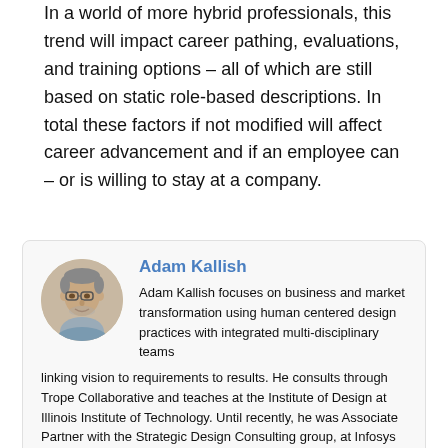In a world of more hybrid professionals, this trend will impact career pathing, evaluations, and training options – all of which are still based on static role-based descriptions. In total these factors if not modified will affect career advancement and if an employee can – or is willing to stay at a company.
[Figure (photo): Circular portrait photo of Adam Kallish, a man with glasses and short grey hair]
Adam Kallish
Adam Kallish focuses on business and market transformation using human centered design practices with integrated multi-disciplinary teams linking vision to requirements to results. He consults through Trope Collaborative and teaches at the Institute of Design at Illinois Institute of Technology. Until recently, he was Associate Partner with the Strategic Design Consulting group, at Infosys and was IBM Systems Design Lead collaborating with engineers, designers, marketing, and support to shape 21st century infrastructure and how it can hellp markets achieve